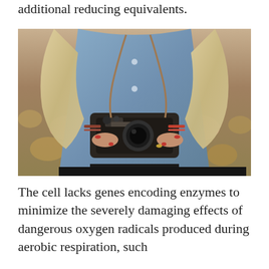additional reducing equivalents.
[Figure (photo): A person holding a vintage film camera (Зенит), wearing a light blue denim shirt and a camera strap. The person has long blonde hair, red nail polish, bracelets on both wrists, and a ring. They are wearing black pants. The background shows an autumn outdoor setting with fallen leaves.]
The cell lacks genes encoding enzymes to minimize the severely damaging effects of dangerous oxygen radicals produced during aerobic respiration, such